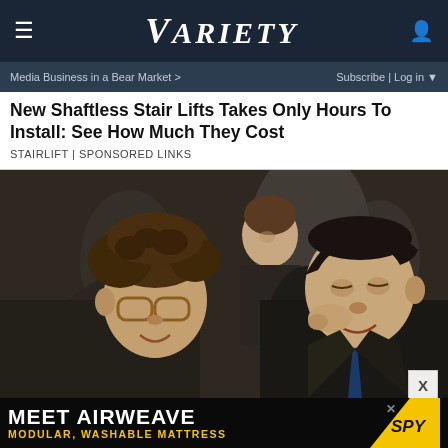VARIETY
Media Business in a Bear Market >
Subscribe | Log in
New Shaftless Stair Lifts Takes Only Hours To Install: See How Much They Cost
STAIRLIFT | SPONSORED LINKS
[Figure (photo): Two men in suits facing each other closely, one with glasses and curly hair, the other with slicked-back hair, appearing to be in a friendly embrace or conversation. Other suited men visible in background. Film still from The Wolf of Wall Street.]
MEET AIRWEAVE MODULAR, WASHABLE MATTRESS / SPY